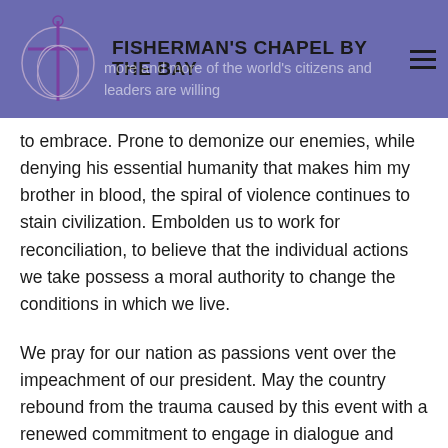FISHERMAN'S CHAPEL BY THE BAY
to embrace. Prone to demonize our enemies, while denying his essential humanity that makes him my brother in blood, the spiral of violence continues to stain civilization. Embolden us to work for reconciliation, to believe that the individual actions we take possess a moral authority to change the conditions in which we live.
We pray for our nation as passions vent over the impeachment of our president. May the country rebound from the trauma caused by this event with a renewed commitment to engage in dialogue and reconciliation.
A year ends and a new one is prepared to begin. Lord, we do not know what to expect of the days and months that lie ahead, but we do know that what lies ahead is no mystery to you. Grant us the confidence of faith to place the future in your hands, entrusting our world, our lives, to your continuing care. Strengthen for the tests that may lie in our future, relying on your love and mercy to sustain